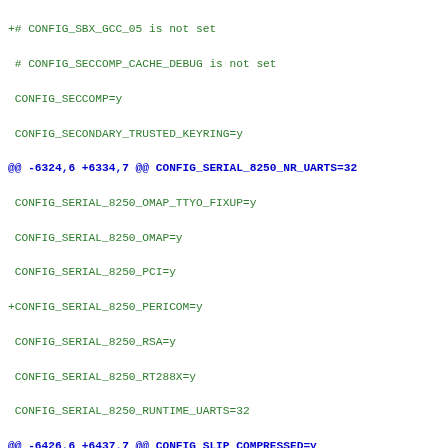diff/patch output showing kernel config changes including CONFIG_SECCOMP, CONFIG_SERIAL_8250_*, CONFIG_SLIP_*, CONFIG_SLS, CONFIG_SLUB_*, CONFIG_SMC, CONFIG_SM_GCC_* settings
+# CONFIG_SBX_GCC_05 is not set
 # CONFIG_SECCOMP_CACHE_DEBUG is not set
 CONFIG_SECCOMP=y
 CONFIG_SECONDARY_TRUSTED_KEYRING=y
@@ -6324,6 +6334,7 @@ CONFIG_SERIAL_8250_NR_UARTS=32
 CONFIG_SERIAL_8250_OMAP_TTYO_FIXUP=y
 CONFIG_SERIAL_8250_OMAP=y
 CONFIG_SERIAL_8250_PCI=y
+CONFIG_SERIAL_8250_PERICOM=y
 CONFIG_SERIAL_8250_RSA=y
 CONFIG_SERIAL_8250_RT288X=y
 CONFIG_SERIAL_8250_RUNTIME_UARTS=32
@@ -6426,6 +6437,7 @@ CONFIG_SLIP_COMPRESSED=y
 CONFIG_SLIP=m
 # CONFIG_SLIP_MODE_SLIP6 is not set
 CONFIG_SLIP_SMART=y
+# CONFIG_SLS is not set
 CONFIG_SLUB_CPU_PARTIAL=y
 # CONFIG_SLUB_DEBUG_ON is not set
 CONFIG_SLUB_KUNIT_TEST=m
@@ -6446,6 +6458,7 @@ CONFIG_SMC=m
 # CONFIG_SM_GCC_8150 is not set
 CONFIG_SM_GCC_8250=m
 CONFIG_SM_GCC_8350=m
+# CONFIG_SM_GCC_8450 is not set
 # CONFIG_SM_GPUCC_8150 is not set